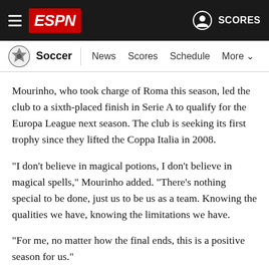ESPN Soccer | News Scores Schedule More | SCORES
Mourinho, who took charge of Roma this season, led the club to a sixth-placed finish in Serie A to qualify for the Europa League next season. The club is seeking its first trophy since they lifted the Coppa Italia in 2008.
"I don't believe in magical potions, I don't believe in magical spells," Mourinho added. "There's nothing special to be done, just us to be us as a team. Knowing the qualities we have, knowing the limitations we have.
"For me, no matter how the final ends, this is a positive season for us."
Mourinho said Armenia midfielder Henrikh Mkhitaryan, who